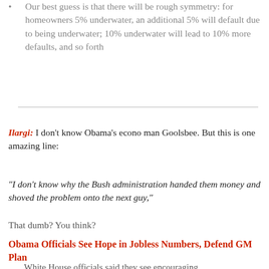Our best guess is that there will be rough symmetry: for homeowners 5% underwater, an additional 5% will default due to being underwater; 10% underwater will lead to 10% more defaults, and so forth
Ilargi: I don't know Obama's econo man Goolsbee. But this is one amazing line:
“I don’t know why the Bush administration handed them money and shoved the problem onto the next guy,”
That dumb? You think?
Obama Officials See Hope in Jobless Numbers, Defend GM Plan
White House officials said they see encouraging